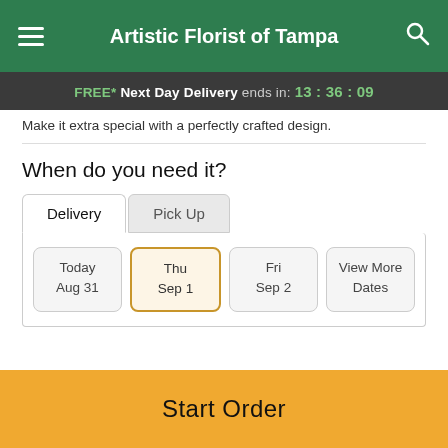Artistic Florist of Tampa
FREE* Next Day Delivery ends in: 13:36:09
Make it extra special with a perfectly crafted design.
When do you need it?
Delivery | Pick Up
Today Aug 31 | Thu Sep 1 | Fri Sep 2 | View More Dates
Guaranteed SAFE Checkout
Start Order